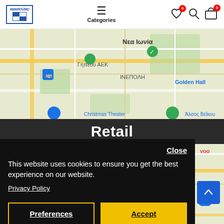[Figure (screenshot): Website header with Amarousion logo on the left, hamburger menu icon and 'Categories' label in the center, and heart, search, and cart icons on the right]
[Figure (map): Google Maps screenshot showing Athens area with Greek text labels including Νεα Ιωνία, ΙΝΕΠΟΛΗ, Γήπεδο ΑΕΚ, Ολυμπιακό Αθλητικό Κέντρο Αθηνών, Golden Hall markers]
Retail
[Figure (map): Google Maps screenshot showing Athens area with Greek text labels including Λυκορρόδη, ΚΑΤΩ ΠΕ, Λεωφ. Ειρ]
Close
This website uses cookies to ensure you get the best experience on our website.
Privacy Policy
Preferences   Accept